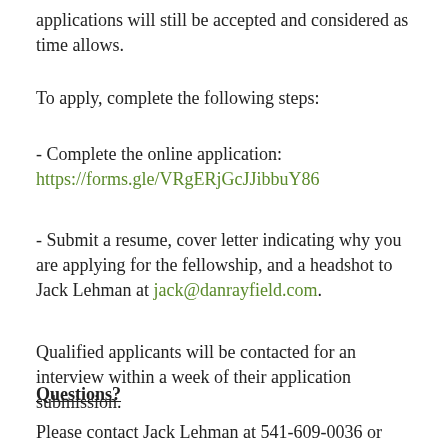applications will still be accepted and considered as time allows.
To apply, complete the following steps:
- Complete the online application: https://forms.gle/VRgERjGcJJibbuY86
- Submit a resume, cover letter indicating why you are applying for the fellowship, and a headshot to Jack Lehman at jack@danrayfield.com.
Qualified applicants will be contacted for an interview within a week of their application submission.
Questions?
Please contact Jack Lehman at 541-609-0036 or